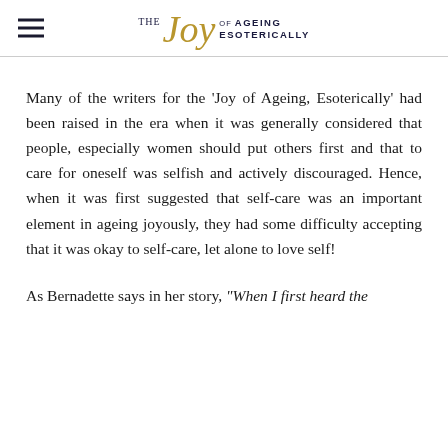THE Joy OF AGEING ESOTERICALLY
Many of the writers for the 'Joy of Ageing, Esoterically' had been raised in the era when it was generally considered that people, especially women should put others first and that to care for oneself was selfish and actively discouraged. Hence, when it was first suggested that self-care was an important element in ageing joyously, they had some difficulty accepting that it was okay to self-care, let alone to love self!
As Bernadette says in her story, "When I first heard the